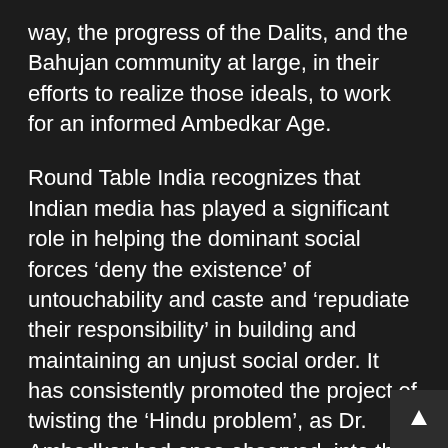way, the progress of the Dalits, and the Bahujan community at large, in their efforts to realize those ideals, to work for an informed Ambedkar Age.
Round Table India recognizes that Indian media has played a significant role in helping the dominant social forces ‘deny the existence’ of untouchability and caste and ‘repudiate their responsibility’ in building and maintaining an unjust social order. It has consistently promoted the project of twisting the ‘Hindu problem’, as Dr. Ambedkar had once observed, into the ‘Dalit problem’. Both the mainstream and so-called alternative media in India are controlled by the same social forces. When